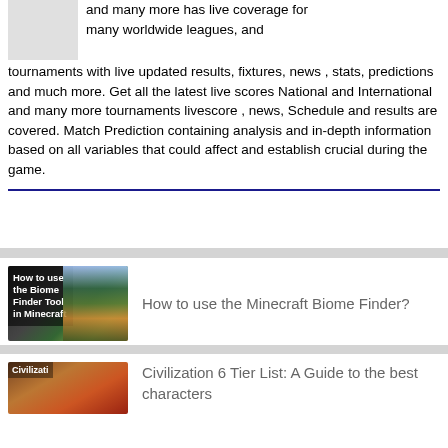and many more has live coverage for many worldwide leagues, and tournaments with live updated results, fixtures, news , stats, predictions and much more. Get all the latest live scores National and International and many more tournaments livescore , news, Schedule and results are covered. Match Prediction containing analysis and in-depth information based on all variables that could affect and establish crucial during the game.
[Figure (screenshot): Thumbnail image of Minecraft Biome Finder article with bold white text on dark background reading 'How to use the Biome Finder Tool in Minecraft' and a map screenshot]
How to use the Minecraft Biome Finder?
[Figure (screenshot): Partial thumbnail for Civilization 6 article with orange-brown map colors and 'Civilizati' text visible]
Civilization 6 Tier List: A Guide to the best characters